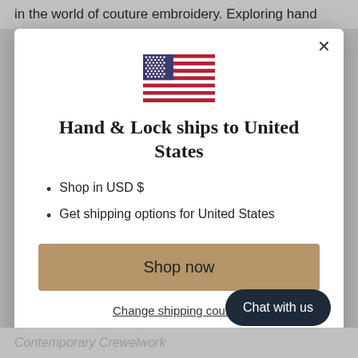in the world of couture embroidery. Exploring hand
[Figure (illustration): US flag emoji/icon]
Hand & Lock ships to United States
Shop in USD $
Get shipping options for United States
Shop now
Change shipping country
Chat with us
Contemporary Crewelwork